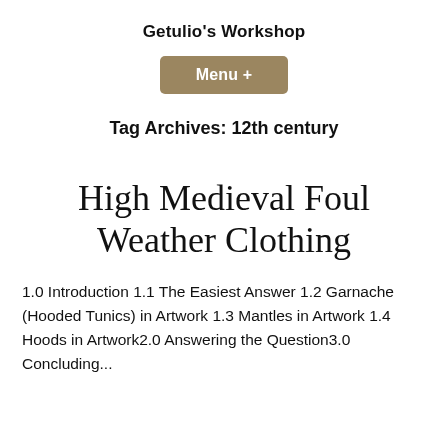Getulio's Workshop
[Figure (other): Menu + button with brown/tan background]
Tag Archives: 12th century
High Medieval Foul Weather Clothing
1.0 Introduction 1.1 The Easiest Answer 1.2 Garnache (Hooded Tunics) in Artwork 1.3 Mantles in Artwork 1.4 Hoods in Artwork2.0 Answering the Question3.0 Concluding...